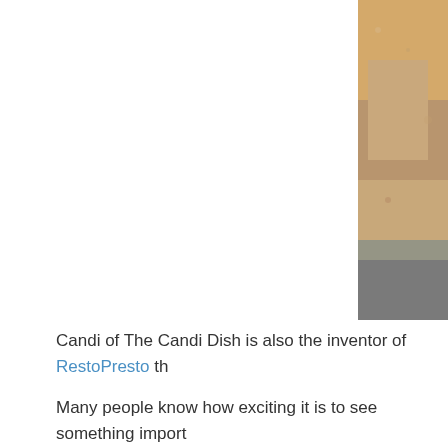[Figure (photo): Partial photo visible on the right edge of the page, showing a person in warm/orange tones, cropped to the right margin]
Candi of The Candi Dish is also the inventor of RestoPresto th...
Many people know how exciting it is to see something import... you can imagine the heart-pounding awesomeness that was... Today Show with Kathie Lee and Hoda on September 14th. S...